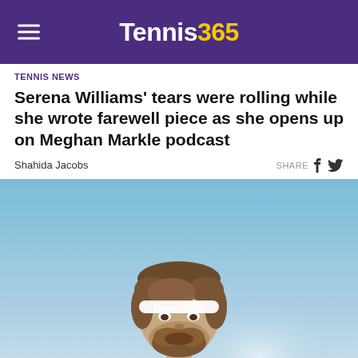Tennis365
TENNIS NEWS
Serena Williams' tears were rolling while she wrote farewell piece as she opens up on Meghan Markle podcast
Shahida Jacobs
[Figure (photo): A bearded male tennis player wearing a white headband, white t-shirt, and gold chain necklace, photographed against a blue sky background.]